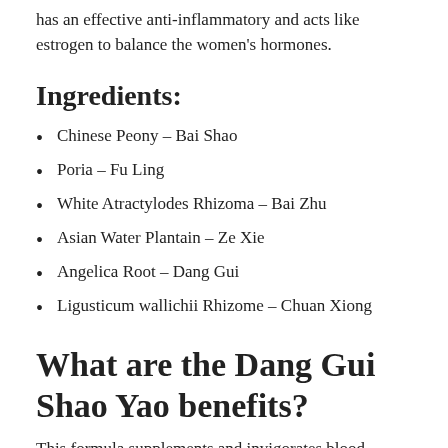has an effective anti-inflammatory and acts like estrogen to balance the women's hormones.
Ingredients:
Chinese Peony – Bai Shao
Poria – Fu Ling
White Atractylodes Rhizoma – Bai Zhu
Asian Water Plantain – Ze Xie
Angelica Root – Dang Gui
Ligusticum wallichii Rhizome – Chuan Xiong
What are the Dang Gui Shao Yao benefits?
This formula supplements and invigorates blood increases vitality.